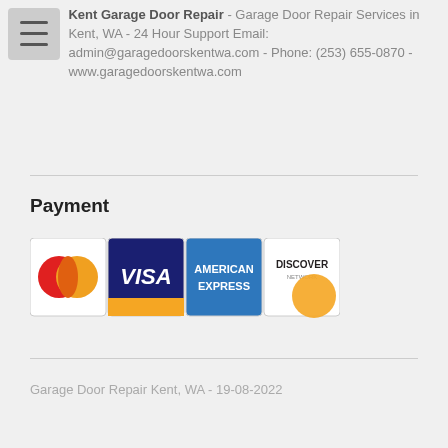Kent Garage Door Repair - Garage Door Repair Services in Kent, WA - 24 Hour Support Email: admin@garagedoorskentwa.com - Phone: (253) 655-0870 - www.garagedoorskentwa.com
Payment
[Figure (logo): Payment method logos: MasterCard, VISA, American Express, Discover Network]
Garage Door Repair Kent, WA - 19-08-2022